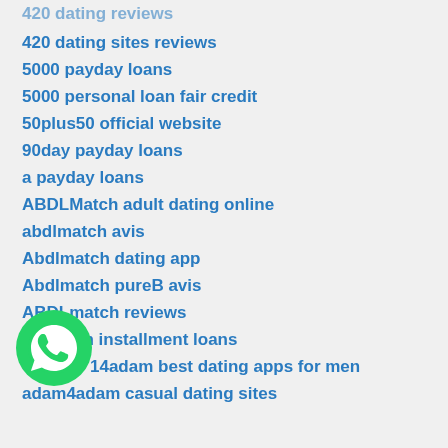420 dating reviews
420 dating sites reviews
5000 payday loans
5000 personal loan fair credit
50plus50 official website
90day payday loans
a payday loans
ABDLMatch adult dating online
abdlmatch avis
Abdlmatch dating app
Abdlmatch pureB avis
ABDLmatch reviews
ace cash installment loans
adam4adam best dating apps for men
adam4adam casual dating sites
[Figure (logo): WhatsApp logo green circle with phone handset icon]